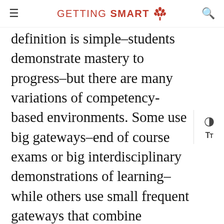GETTING SMART
definition is simple–students demonstrate mastery to progress–but there are many variations of competency-based environments. Some use big gateways–end of course exams or big interdisciplinary demonstrations of learning–while others use small frequent gateways that combine multiple assessments. Combining multiple assessments in consistent and reliable fashion is important in all of these environments, particularly those where they guide student progress. The schools doing this well are individual rotation models with custom built platforms (e.g., Summit & EAA Buzz) that combine several assessments at a unit (or